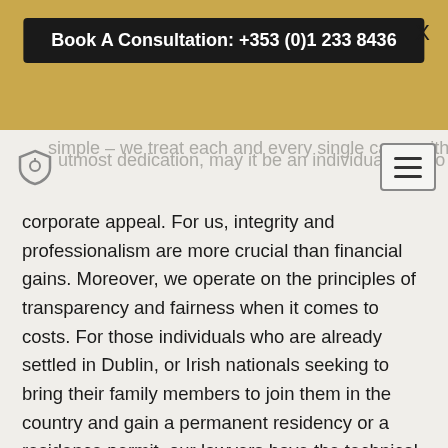Book A Consultation: +353 (0)1 233 8436
simple – we treat each and every single case, with our utmost dedication, may it be an individual case or a corporate appeal. For us, integrity and professionalism are more crucial than financial gains. Moreover, we operate on the principles of transparency and fairness when it comes to costs. For those individuals who are already settled in Dublin, or Irish nationals seeking to bring their family members to join them in the country and gain a permanent residency or a residence permit, our lawyers have the technical know-how, experience and knowledge and will be readily available to help you win your application, by providing practical representation